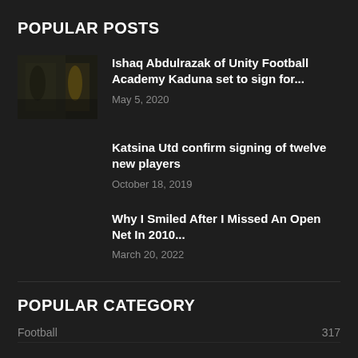POPULAR POSTS
Ishaq Abdulrazak of Unity Football Academy Kaduna set to sign for...
May 5, 2020
Katsina Utd confirm signing of twelve new players
October 18, 2019
Why I Smiled After I Missed An Open Net In 2010...
March 20, 2022
POPULAR CATEGORY
Football  317